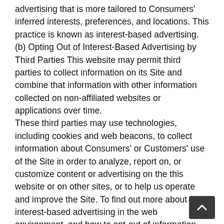advertising that is more tailored to Consumers' inferred interests, preferences, and locations. This practice is known as interest-based advertising.
(b) Opting Out of Interest-Based Advertising by Third Parties This website may permit third parties to collect information on its Site and combine that information with other information collected on non-affiliated websites or applications over time.
These third parties may use technologies, including cookies and web beacons, to collect information about Consumers' or Customers' use of the Site in order to analyze, report on, or customize content or advertising on the this website or on other sites, or to help us operate and improve the Site. To find out more about interest-based advertising in the web environment, and how to opt-out of information collection for this purpose by companies that participate in the Network Advertising Initiative or the Digital Advertising Alliance, visit NAI's opt-out page or DAA's Consumer Choice Page.